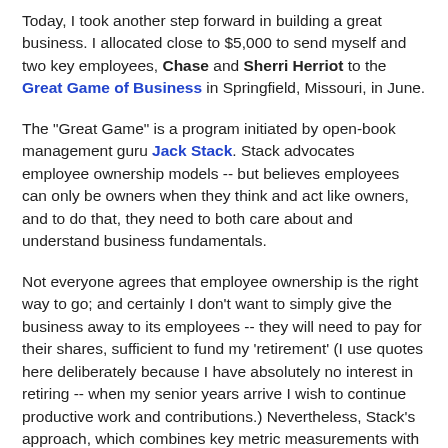Today, I took another step forward in building a great business. I allocated close to $5,000 to send myself and two key employees, Chase and Sherri Herriot to the Great Game of Business in Springfield, Missouri, in June.
The "Great Game" is a program initiated by open-book management guru Jack Stack. Stack advocates employee ownership models -- but believes employees can only be owners when they think and act like owners, and to do that, they need to both care about and understand business fundamentals.
Not everyone agrees that employee ownership is the right way to go; and certainly I don't want to simply give the business away to its employees -- they will need to pay for their shares, sufficient to fund my 'retirement' (I use quotes here deliberately because I have absolutely no interest in retiring -- when my senior years arrive I wish to continue productive work and contributions.) Nevertheless, Stack's approach, which combines key metric measurements with incentives for productive achievement, appears ideal for the type of business I wish to run. (Other models, undoubtedly,